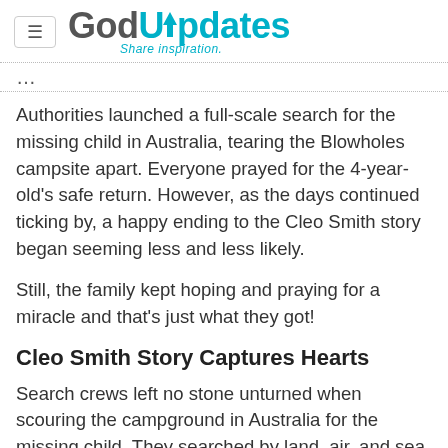GodUpdates — Share inspiration.
Authorities launched a full-scale search for the missing child in Australia, tearing the Blowholes campsite apart. Everyone prayed for the 4-year-old's safe return. However, as the days continued ticking by, a happy ending to the Cleo Smith story began seeming less and less likely.
Still, the family kept hoping and praying for a miracle and that's just what they got!
Cleo Smith Story Captures Hearts
Search crews left no stone unturned when scouring the campground in Australia for the missing child. They searched by land, air, and sea. And with absolutely no